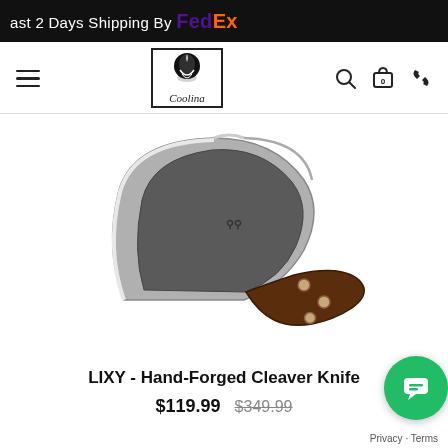ast 2 Days Shipping By FedEx
[Figure (logo): Coolina brand logo in a square border with stylized onion icon and cursive brand name]
[Figure (photo): LIXY Hand-Forged Cleaver Knife with dark hammered steel blade and dark wood handle with rivets, shown diagonally on white background]
LIXY - Hand-Forged Cleaver Knife
$119.99  $349.99